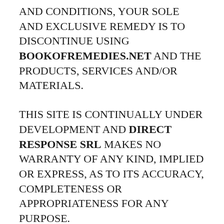AND CONDITIONS, YOUR SOLE AND EXCLUSIVE REMEDY IS TO DISCONTINUE USING bookofremedies.net AND THE PRODUCTS, SERVICES AND/OR MATERIALS.
THIS SITE IS CONTINUALLY UNDER DEVELOPMENT AND DIRECT RESPONSE SRL MAKES NO WARRANTY OF ANY KIND, IMPLIED OR EXPRESS, AS TO ITS ACCURACY, COMPLETENESS OR APPROPRIATENESS FOR ANY PURPOSE.
ALEC DEACON IS A PSEUDONYM WHICH OUR WRITERS USE TO COMMENT ON ISSUES RELEVANT TO OUR CUSTOMERS